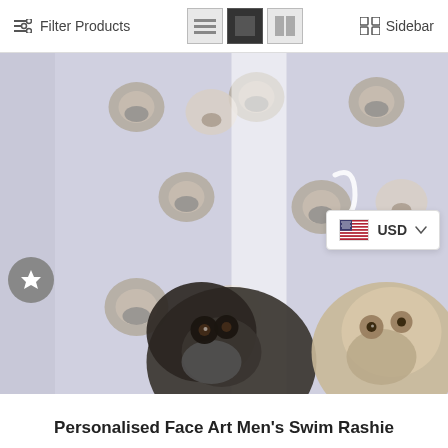Filter Products | View toggle icons | Sidebar
[Figure (photo): Product photo of a Personalised Face Art Men's Swim Rashie featuring a pug face pattern on a light blue/purple background. Two actual pug dogs are visible in the lower portion of the image. A rotation arrow icon is overlaid on the image. A star/wishlist button appears on the left side. A USD currency selector dropdown appears on the right.]
Personalised Face Art Men's Swim Rashie